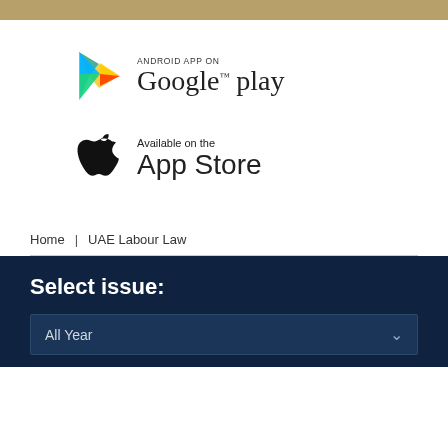[Figure (logo): Gold/tan horizontal bar at top of page]
[Figure (logo): Google Play store badge with colorful triangle logo and text 'ANDROID APP ON Google play']
[Figure (logo): Apple App Store badge with Apple logo and text 'Available on the App Store']
Home   UAE Labour Law
Select issue:
All Year